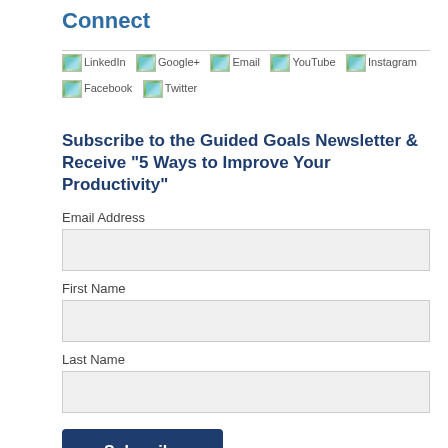Connect
[Figure (other): Row of social media icon placeholders: LinkedIn, Google+, Email, YouTube, Instagram, Facebook, Twitter]
Subscribe to the Guided Goals Newsletter & Receive "5 Ways to Improve Your Productivity"
Email Address
First Name
Last Name
Subscribe